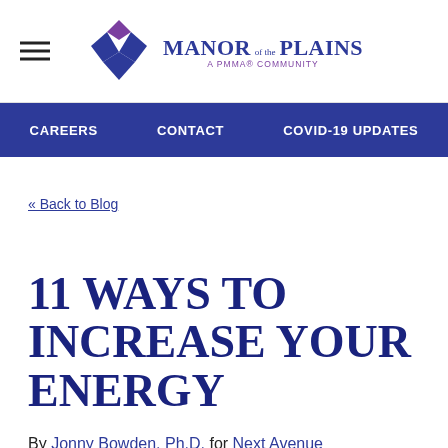[Figure (logo): Manor of the Plains logo — blue diamond chevron icon with text 'MANOR of the PLAINS, A PMMA® COMMUNITY']
CAREERS   CONTACT   COVID-19 UPDATES
« Back to Blog
11 WAYS TO INCREASE YOUR ENERGY
By Jonny Bowden, Ph.D. for Next Avenue
In the commencement address he gave to graduates